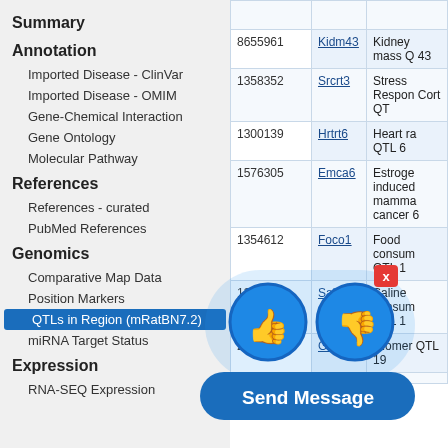Summary
Annotation
Imported Disease - ClinVar
Imported Disease - OMIM
Gene-Chemical Interaction
Gene Ontology
Molecular Pathway
References
References - curated
PubMed References
Genomics
Comparative Map Data
Position Markers
QTLs in Region (mRatBN7.2)
miRNA Target Status
Expression
RNA-SEQ Expression
| ID | Symbol | Name |
| --- | --- | --- |
| 8655961 | Kidm43 | Kidney mass Q 43 |
| 1358352 | Srcrt3 | Stress Response Cort QT |
| 1300139 | Hrtrt6 | Heart ra QTL 6 |
| 1576305 | Emca6 | Estrogen induced mamma cancer 6 |
| 1354612 | Foco1 | Food consum QTL 1 |
| 1354860 | Salc1 | Saline consum QTL 1 |
| 2312567 | Glom19 | Glomer QTL 19 |
[Figure (other): Thumbs up and thumbs down feedback icons overlay with close button and Send Message button]